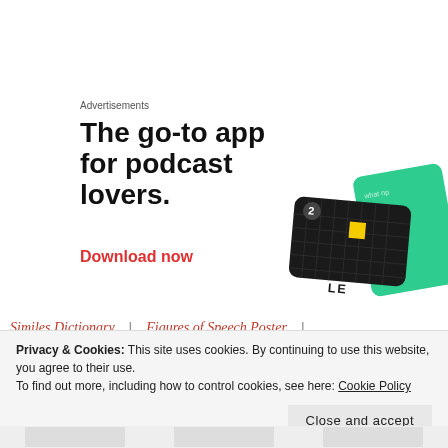Advertisements
[Figure (illustration): Advertisement for a podcast app: large bold headline 'The go-to app for podcast lovers.' with a red 'Download now' CTA link, and decorative app card graphics (black grid card with yellow square and a green card) on the right side.]
Similes Dictionary | Figures of Speech Poster |
Privacy & Cookies: This site uses cookies. By continuing to use this website, you agree to their use. To find out more, including how to control cookies, see here: Cookie Policy